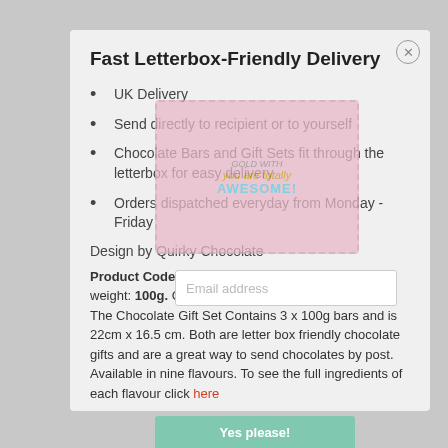Fast Letterbox-Friendly Delivery
UK Delivery
Send directly to recipient or to yourself
Chocolate Bars and Gift Sets fit through the letterbox for easy delivery
Orders dispatched everyday from Monday - Friday
[Figure (photo): Overlaid product image of a pink greeting card reading 'you are totally AWESOME!']
Design by Quirky Chocolate
Product Code: QWB0151 Details: Chocolate Bar weight: 100g. Chocolate Box Size: 8.5cm x 16.5cm. The Chocolate Gift Set Contains 3 x 100g bars and is 22cm x 16.5 cm. Both are letter box friendly chocolate gifts and are a great way to send chocolates by post. Available in nine flavours. To see the full ingredients of each flavour click here